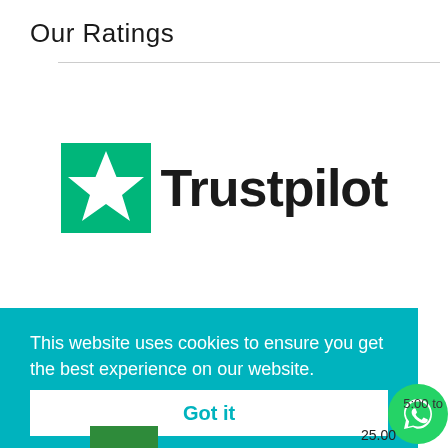Our Ratings
[Figure (logo): Trustpilot logo with green star and bold black text 'Trustpilot']
This website uses cookies to ensure you get the best experience on our website.
Learn more
Got it
5:00 to
25.00